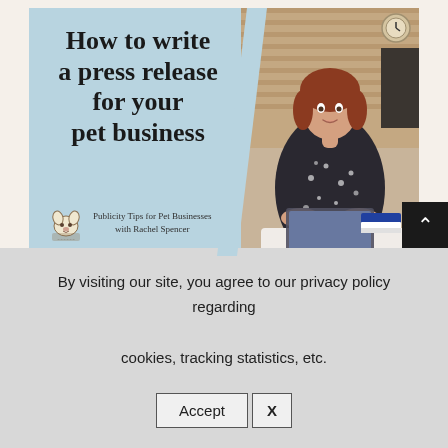[Figure (illustration): Promotional image for 'How to write a press release for your pet business' - Publicity Tips for Pet Businesses with Rachel Spencer. Left side has a blue panel with serif title text and a dog logo branding mark. Right side shows a woman with red/auburn hair in a dark floral top working on a laptop at a white table, with a brick wall background and books on the table.]
By visiting our site, you agree to our privacy policy regarding cookies, tracking statistics, etc.
Accept   X